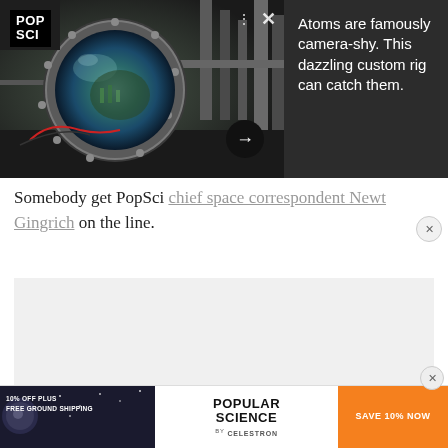[Figure (photo): Scientific laboratory equipment showing a large circular vacuum chamber viewport/flange on a complex optical or atomic physics experimental rig, with metallic components and tubing visible. Right side has dark grey background with white text overlay.]
Atoms are famously camera-shy. This dazzling custom rig can catch them.
Somebody get PopSci chief space correspondent Newt Gingrich on the line.
[Figure (other): Grey advertisement placeholder area]
[Figure (other): Advertisement banner: 10% OFF PLUS FREE GROUND SHIPPING | POPULAR SCIENCE by CELESTRON | SAVE 10% NOW]